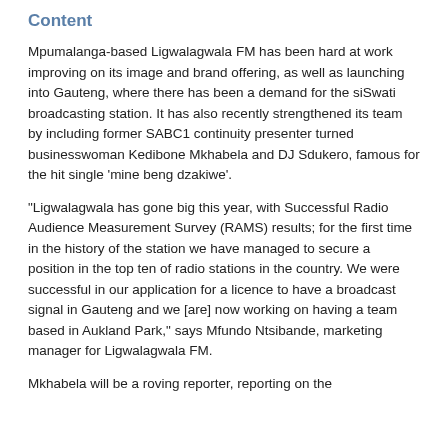Content
Mpumalanga-based Ligwalagwala FM has been hard at work improving on its image and brand offering, as well as launching into Gauteng, where there has been a demand for the siSwati broadcasting station. It has also recently strengthened its team by including former SABC1 continuity presenter turned businesswoman Kedibone Mkhabela and DJ Sdukero, famous for the hit single 'mine beng dzakiwe'.
"Ligwalagwala has gone big this year, with Successful Radio Audience Measurement Survey (RAMS) results; for the first time in the history of the station we have managed to secure a position in the top ten of radio stations in the country. We were successful in our application for a licence to have a broadcast signal in Gauteng and we [are] now working on having a team based in Aukland Park," says Mfundo Ntsibande, marketing manager for Ligwalagwala FM.
Mkhabela will be a roving reporter, reporting on the